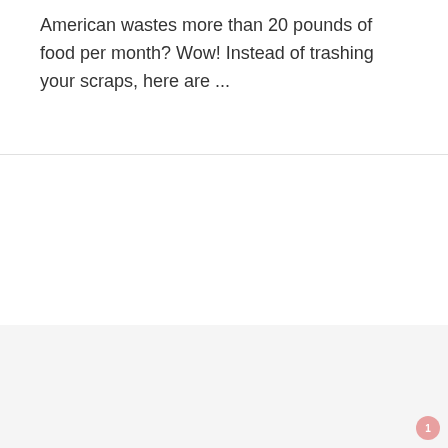American wastes more than 20 pounds of food per month? Wow! Instead of trashing your scraps, here are ...
[Figure (illustration): Trader Joe's Wine Guide promotional image showing a wine bottle pouring red wine into a glass, with cursive 'Trader Joe's' text and bold 'WINE GUIDE' subtitle, plus a partial arrow graphic]